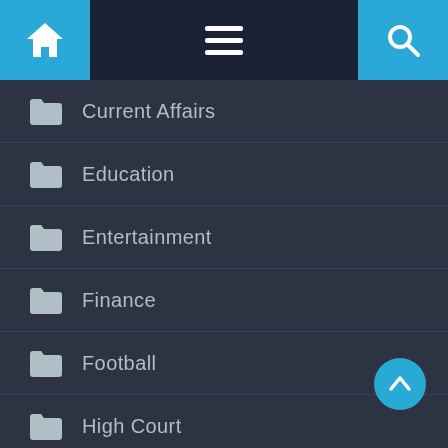[Figure (screenshot): Navigation bar with home icon, hamburger menu, and search icon]
Current Affairs
Education
Entertainment
Finance
Football
High Court
International
Local News
Politics
Press Releases